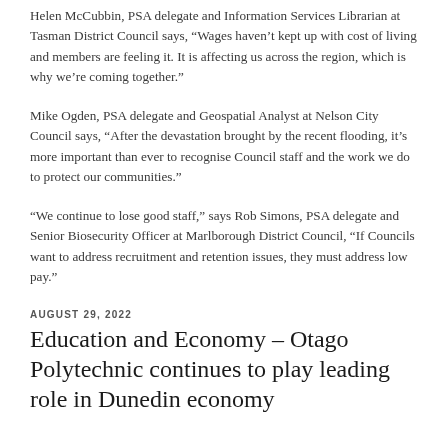Helen McCubbin, PSA delegate and Information Services Librarian at Tasman District Council says, “Wages haven’t kept up with cost of living and members are feeling it. It is affecting us across the region, which is why we’re coming together.”
Mike Ogden, PSA delegate and Geospatial Analyst at Nelson City Council says, “After the devastation brought by the recent flooding, it’s more important than ever to recognise Council staff and the work we do to protect our communities.”
“We continue to lose good staff,” says Rob Simons, PSA delegate and Senior Biosecurity Officer at Marlborough District Council, “If Councils want to address recruitment and retention issues, they must address low pay.”
AUGUST 29, 2022
Education and Economy – Otago Polytechnic continues to play leading role in Dunedin economy